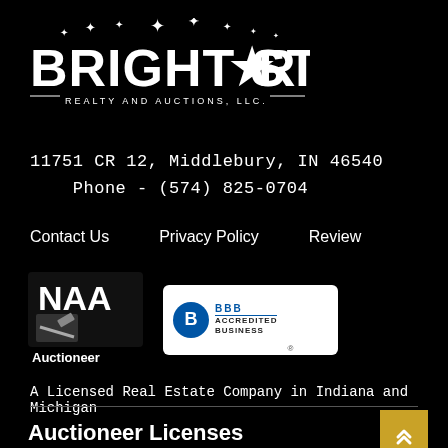[Figure (logo): Bright Star Realty and Auctions LLC logo with star graphic and decorative stars above]
11751 CR 12, Middlebury, IN 46540
Phone - (574) 825-0704
Contact Us
Privacy Policy
Review
[Figure (logo): NAA Auctioneer logo badge]
[Figure (logo): BBB Accredited Business badge]
A Licensed Real Estate Company in Indiana and Michigan
Auctioneer Licenses